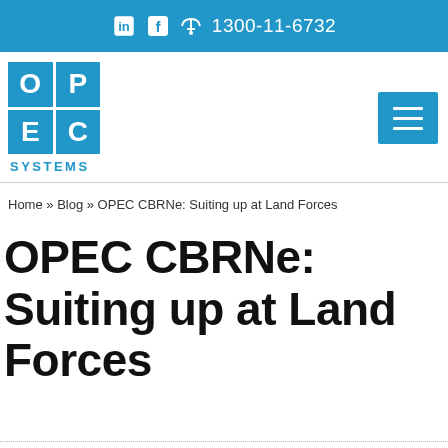1300-11-6732
[Figure (logo): OPEC Systems logo — 2x2 blue grid with letters O, P, E, C and SYSTEMS text below]
Home » Blog » OPEC CBRNe: Suiting up at Land Forces
OPEC CBRNe: Suiting up at Land Forces